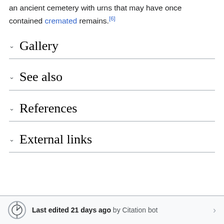an ancient cemetery with urns that may have once contained cremated remains.[6]
Gallery
See also
References
External links
Last edited 21 days ago by Citation bot